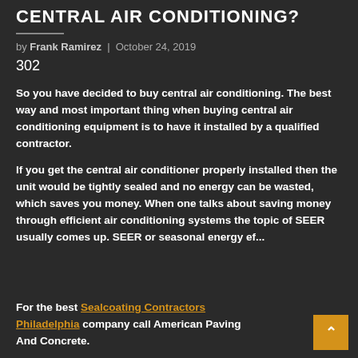CENTRAL AIR CONDITIONING?
by Frank Ramirez | October 24, 2019
302
So you have decided to buy central air conditioning. The best way and most important thing when buying central air conditioning equipment is to have it installed by a qualified contractor.
If you get the central air conditioner properly installed then the unit would be tightly sealed and no energy can be wasted, which saves you money. When one talks about saving money through efficient air conditioning systems the topic of SEER usually comes up. SEER or seasonal energy ef...
For the best Sealcoating Contractors Philadelphia company call American Paving And Concrete.